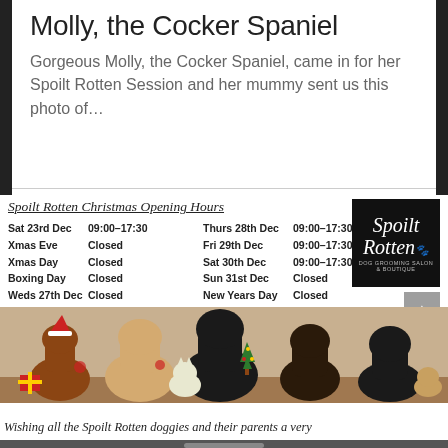Molly, the Cocker Spaniel
Gorgeous Molly, the Cocker Spaniel, came in for her Spoilt Rotten Session and her mummy sent us this photo of…
Spoilt Rotten Christmas Opening Hours
| Day | Hours |
| --- | --- |
| Sat 23rd Dec | 09:00–17:30 |
| Xmas Eve | Closed |
| Xmas Day | Closed |
| Boxing Day | Closed |
| Weds 27th Dec | Closed |
| Thurs 28th Dec | 09:00–17:30 |
| Fri 29th Dec | 09:00–17:30 |
| Sat 30th Dec | 09:00–17:30 |
| Sun 31st Dec | Closed |
| New Years Day | Closed |
| Tues 2nd Jan | 09:00–17:30 |
[Figure (photo): Dogs and cats dressed in Christmas outfits and Santa hats posed together]
Wishing all the Spoilt Rotten doggies and their parents a very Merry Christmas & Happy New Year, from all the team x